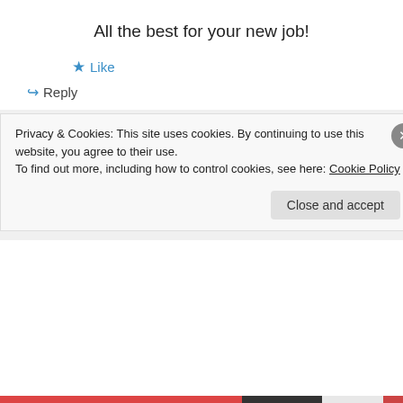All the best for your new job!
★ Like
↪ Reply
Bikramjit Singh Mann on April 20, 2012 at 4:21 PM
Thank you so much for the wishes...
★ Like
Privacy & Cookies: This site uses cookies. By continuing to use this website, you agree to their use.
To find out more, including how to control cookies, see here: Cookie Policy
Close and accept